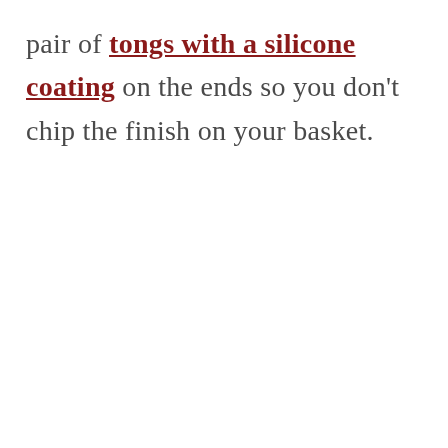pair of tongs with a silicone coating on the ends so you don't chip the finish on your basket.